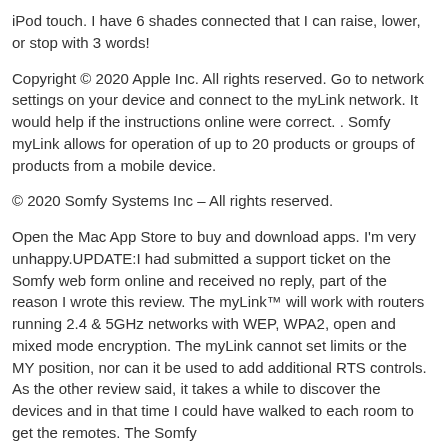iPod touch. I have 6 shades connected that I can raise, lower, or stop with 3 words!
Copyright © 2020 Apple Inc. All rights reserved. Go to network settings on your device and connect to the myLink network. It would help if the instructions online were correct. . Somfy myLink allows for operation of up to 20 products or groups of products from a mobile device.
© 2020 Somfy Systems Inc – All rights reserved.
Open the Mac App Store to buy and download apps. I'm very unhappy.UPDATE:I had submitted a support ticket on the Somfy web form online and received no reply, part of the reason I wrote this review. The myLink™ will work with routers running 2.4 & 5GHz networks with WEP, WPA2, open and mixed mode encryption. The myLink cannot set limits or the MY position, nor can it be used to add additional RTS controls. As the other review said, it takes a while to discover the devices and in that time I could have walked to each room to get the remotes. The Somfy